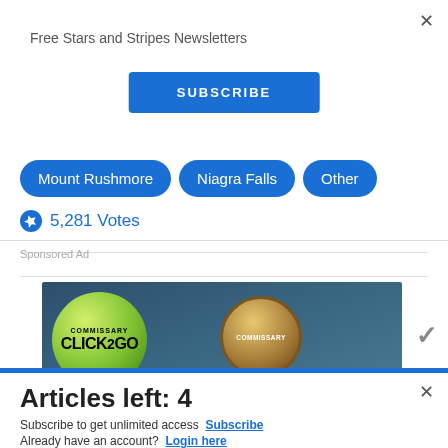Free Stars and Stripes Newsletters
SUBSCRIBE
Mount Rushmore
Niagra Falls
Other
5,281 Votes
Sponsored Ad
[Figure (screenshot): Commissary Click2Go advertisement banner with green circle logo and commissary roundel logo on dark blue-grey background. Text reads 'order groceries' at the bottom.]
Articles left: 4
Subscribe to get unlimited access  Subscribe
Already have an account?  Login here